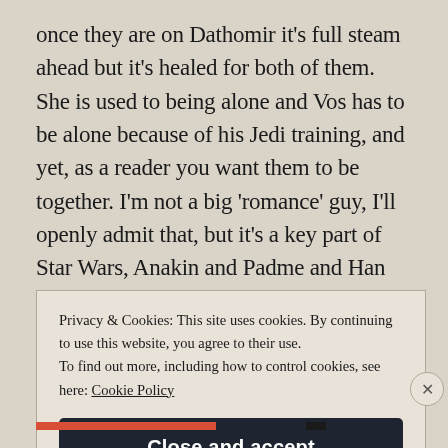once they are on Dathomir it's full steam ahead but it's healed for both of them. She is used to being alone and Vos has to be alone because of his Jedi training, and yet, as a reader you want them to be together. I'm not a big 'romance' guy, I'll openly admit that, but it's a key part of Star Wars, Anakin and Padme and Han and Leia are so important to the plot lines of their respective trilogies, but I
Privacy & Cookies: This site uses cookies. By continuing to use this website, you agree to their use.
To find out more, including how to control cookies, see here: Cookie Policy
Close and accept